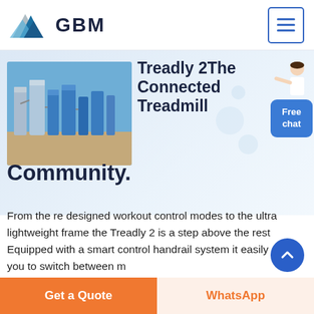[Figure (logo): GBM company logo with blue mountain/triangle shape and bold GBM text]
[Figure (photo): Industrial facility with blue tanks and equipment outdoors under blue sky]
Treadly 2The Connected Treadmill Community.
From the re designed workout control modes to the ultra lightweight frame the Treadly 2 is a step above the rest Equipped with a smart control handrail system it easily allows you to switch between multiple
[Figure (illustration): Person in white shirt pointing, customer service representative illustration]
Free chat
Get a Quote
WhatsApp